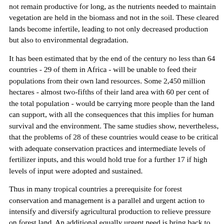not remain productive for long, as the nutrients needed to maintain vegetation are held in the biomass and not in the soil. These cleared lands become infertile, leading to not only decreased production but also to environmental degradation.
It has been estimated that by the end of the century no less than 64 countries - 29 of them in Africa - will be unable to feed their populations from their own land resources. Some 2,450 million hectares - almost two-fifths of their land area with 60 per cent of the total population - would be carrying more people than the land can support, with all the consequences that this implies for human survival and the environment. The same studies show, nevertheless, that the problems of 28 of these countries would cease to be critical with adequate conservation practices and intermediate levels of fertilizer inputs, and this would hold true for a further 17 if high levels of input were adopted and sustained.
Thus in many tropical countries a prerequisite for forest conservation and management is a parallel and urgent action to intensify and diversify agricultural production to relieve pressure on forest land. An additional equally urgent need is bring back to production the degraded waste lands - 75 million hectares of degraded but potentially productive lands in Asia alone.
1.2.2 Watershed degradation in mountain areas